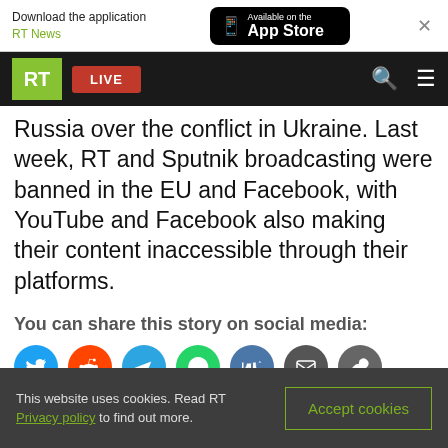[Figure (screenshot): App download banner: Download the application RT News, Available on the App Store button, close X button]
[Figure (screenshot): RT website navigation bar with RT logo (green), LIVE button (red), search icon, hamburger menu icon]
Russia over the conflict in Ukraine. Last week, RT and Sputnik broadcasting were banned in the EU and Facebook, with YouTube and Facebook also making their content inaccessible through their platforms.
You can share this story on social media:
[Figure (screenshot): Social media share icons: Twitter (blue bird), Reddit (orange), Telegram (blue), WhatsApp (green), VK (blue), Email (grey), Link (grey)]
This website uses cookies. Read RT Privacy policy to find out more.